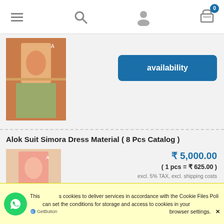[Figure (screenshot): Mobile website navigation bar with hamburger menu, search icon, user icon, and cart icon with badge showing 0]
[Figure (photo): Partial product image of an orange Indian dress material suit]
[Figure (screenshot): Button labeled 'availability' in blue]
Alok Suit Simora Dress Material ( 8 Pcs Catalog )
[Figure (photo): Product image of Alok Suit Simora Dress Material - pink and blue Indian salwar suit]
₹ 5,000.00
( 1 pcs = ₹ 625.00 )
excl. 5% TAX, excl. shipping costs
[Figure (screenshot): Button labeled 'notify of product availability' in blue]
This [site] uses cookies to deliver services in accordance with the Cookie Files Policy. You can set the conditions for storage and access to cookies in your browser settings. ✕